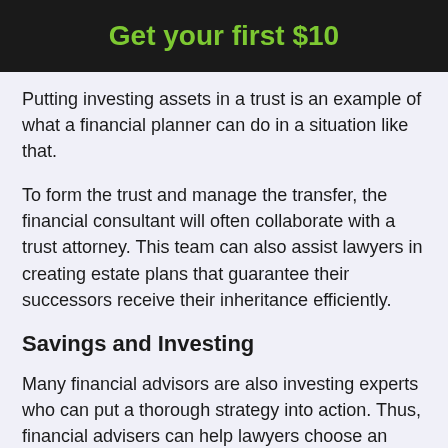Get your first $10
Putting investing assets in a trust is an example of what a financial planner can do in a situation like that.
To form the trust and manage the transfer, the financial consultant will often collaborate with a trust attorney. This team can also assist lawyers in creating estate plans that guarantee their successors receive their inheritance efficiently.
Savings and Investing
Many financial advisors are also investing experts who can put a thorough strategy into action. Thus, financial advisers can help lawyers choose an investment strategy that fits their risk tolerance and specific